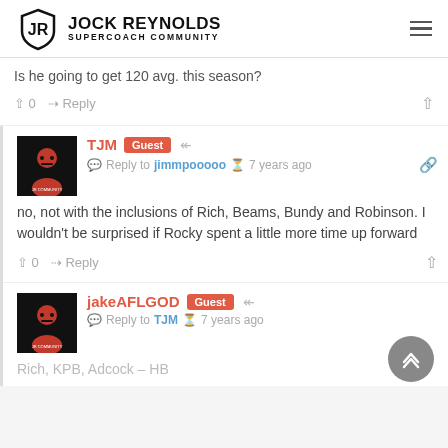Jock Reynolds Supercoach Community
Is he going to get 120 avg. this season?
0  Reply
TJM Guest — Reply to jimmpooooo · 7 years ago
no, not with the inclusions of Rich, Beams, Bundy and Robinson. I wouldn't be surprised if Rocky spent a little more time up forward
0  Reply
jakeAFLGOD Guest — Reply to TJM · 7 years ago
Rich, KPB, Adcock – HB